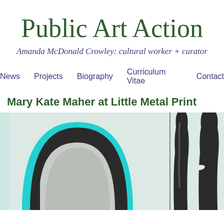Public Art Action
Amanda McDonald Crowley: cultural worker + curator
News
Projects
Biography
Curriculum Vitae
Contact
Mary Kate Maher at Little Metal Print
[Figure (photo): Two abstract artworks: left shows a large arch form with a cyan/teal glow border and dark curved cutout against a pale background; right shows a dark elongated bottle-like sculptural form with a small white protrusion, against a light background.]